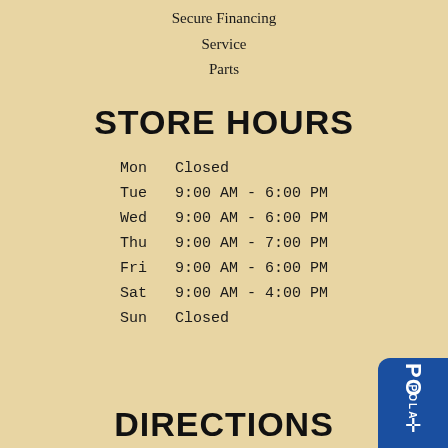Secure Financing
Service
Parts
STORE HOURS
| Day | Hours |
| --- | --- |
| Mon | Closed |
| Tue | 9:00 AM - 6:00 PM |
| Wed | 9:00 AM - 6:00 PM |
| Thu | 9:00 AM - 7:00 PM |
| Fri | 9:00 AM - 6:00 PM |
| Sat | 9:00 AM - 4:00 PM |
| Sun | Closed |
DIRECTIONS